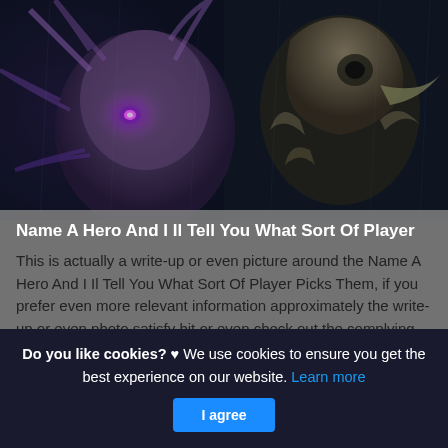[Figure (photo): Fantasy game characters: a purple glowing creature on the left and a bird-skull armored figure on the right, dark atmospheric background]
Name A Hero And I Il Tell You What Sort Of Player
This is actually a write-up or even picture around the Name A Hero And I Il Tell You What Sort Of Player Picks Them, if you prefer even more relevant information approximately the write-up or even photo satisfy hit or even check out the complying with web link or even web link .
Do you like cookies? ♥ We use cookies to ensure you get the best experience on our website. Learn more
I agree